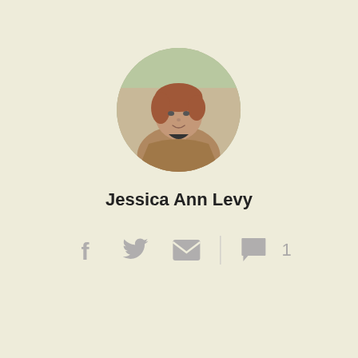[Figure (photo): Circular profile photo of Jessica Ann Levy, a woman with reddish-auburn hair wearing a tan/brown top, photographed outdoors]
Jessica Ann Levy
[Figure (infographic): Social media icon bar with Facebook, Twitter, email icons, a vertical divider, and a comment bubble icon with count 1]